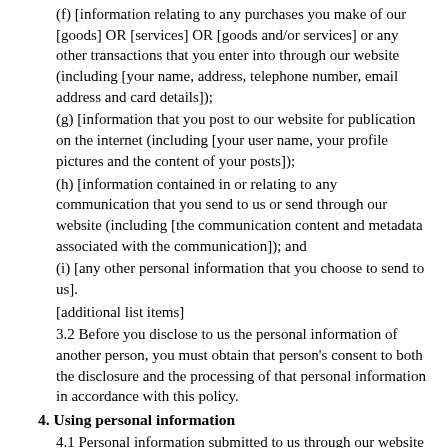(f) [information relating to any purchases you make of our [goods] OR [services] OR [goods and/or services] or any other transactions that you enter into through our website (including [your name, address, telephone number, email address and card details]);
(g) [information that you post to our website for publication on the internet (including [your user name, your profile pictures and the content of your posts]);
(h) [information contained in or relating to any communication that you send to us or send through our website (including [the communication content and metadata associated with the communication]); and
(i) [any other personal information that you choose to send to us].
[additional list items]
3.2 Before you disclose to us the personal information of another person, you must obtain that person's consent to both the disclosure and the processing of that personal information in accordance with this policy.
4. Using personal information
4.1 Personal information submitted to us through our website